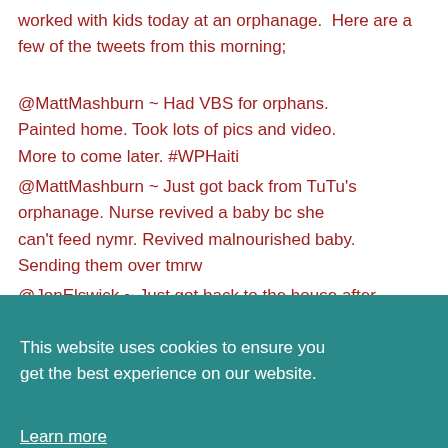worked with kids today at an orphanage. Here are a few of the tweets from this morning;
@MattMashburn ~ Had VBS for orphans. Painted home. Took lots of pics and video. More to come later. #WPHaiti
@MattMashburn ~ Just got back from TuTu's orphanage. Nurse revived a baby bc she can't feed nymr. Revived malnourished baby. Sending them over tmrw
@JonElswick ~ Just got back to the house after some time at TuTu's orphanage. It's humbling to see the amount of need.
[Figure (screenshot): Cookie consent overlay dialog with teal background. Contains text 'This website uses cookies to ensure you get the best experience on our website.' with a 'Learn more' link, a close button (x), and two buttons: 'Decline' and 'Accept' (red background).]